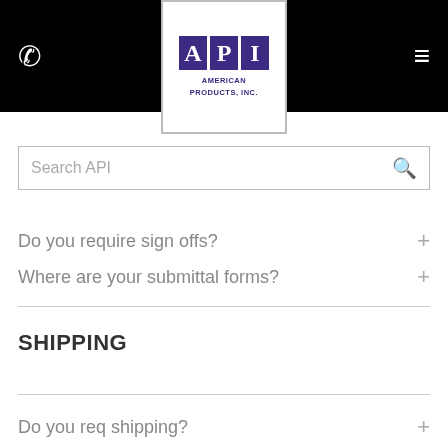[Figure (logo): API American Products, Inc. logo with purple blocks for A, P, I letters on white background with border]
Search API
Do you require sign offs?
Where are your submittal forms?
SHIPPING
Do you req shipping?